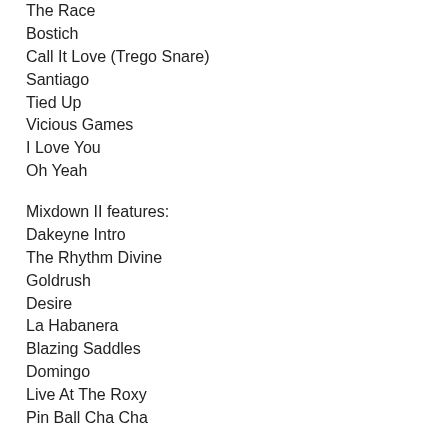The Race
Bostich
Call It Love (Trego Snare)
Santiago
Tied Up
Vicious Games
I Love You
Oh Yeah
Mixdown II features:
Dakeyne Intro
The Rhythm Divine
Goldrush
Desire
La Habanera
Blazing Saddles
Domingo
Live At The Roxy
Pin Ball Cha Cha